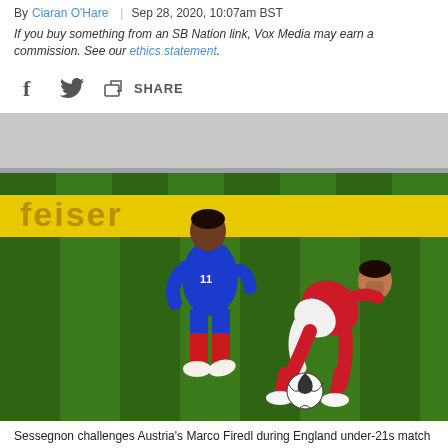By Ciaran O'Hare | Sep 28, 2020, 10:07am BST
If you buy something from an SB Nation link, Vox Media may earn a commission. See our ethics statement.
[Figure (photo): Two football players competing for the ball during a match. An England under-21 player in blue jersey (number 11, Sessegnon) challenges an Austria player in red and white kit (Marco Firedl) on a green pitch. Advertising boards visible in background including 'Reiser'.]
Sessegnon challenges Austria's Marco Firedl during England under-21s match